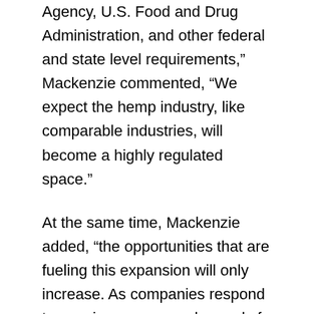Agency, U.S. Food and Drug Administration, and other federal and state level requirements," Mackenzie commented, "We expect the hemp industry, like comparable industries, will become a highly regulated space."
At the same time, Mackenzie added, "the opportunities that are fueling this expansion will only increase. As companies respond to growing consumer demands for sustainably-sourced materials, clothing and textile manufacturers are turning to using hemp in their products. With the threat of climate change, climate-smart agriculture (such as hemp) is even more important. And, hemp-derived CBD products are becoming more pervasive, as scientific research is ongoing